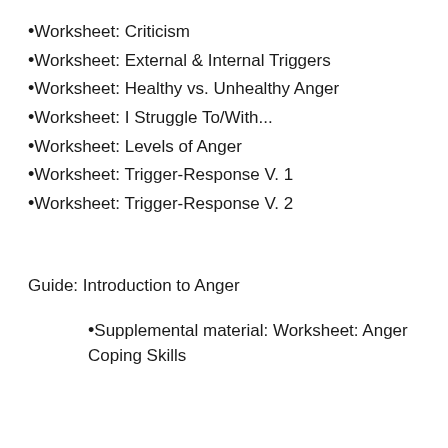•Worksheet: Criticism
•Worksheet: External & Internal Triggers
•Worksheet: Healthy vs. Unhealthy Anger
•Worksheet: I Struggle To/With...
•Worksheet: Levels of Anger
•Worksheet: Trigger-Response V. 1
•Worksheet: Trigger-Response V. 2
Guide: Introduction to Anger
•Supplemental material: Worksheet: Anger Coping Skills